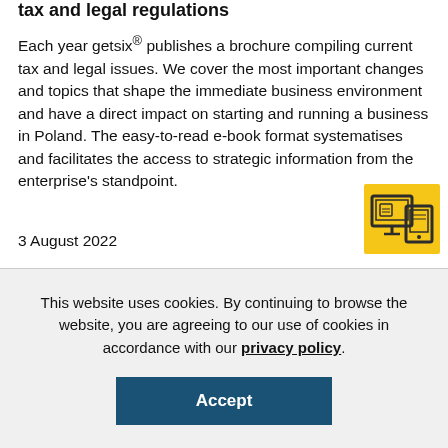tax and legal regulations
Each year getsix® publishes a brochure compiling current tax and legal issues. We cover the most important changes and topics that shape the immediate business environment and have a direct impact on starting and running a business in Poland. The easy-to-read e-book format systematises and facilitates the access to strategic information from the enterprise's standpoint.
[Figure (illustration): Yellow icon showing a tablet/e-book device with a monitor and document symbol]
3 August 2022
This website uses cookies. By continuing to browse the website, you are agreeing to our use of cookies in accordance with our privacy policy.
Accept